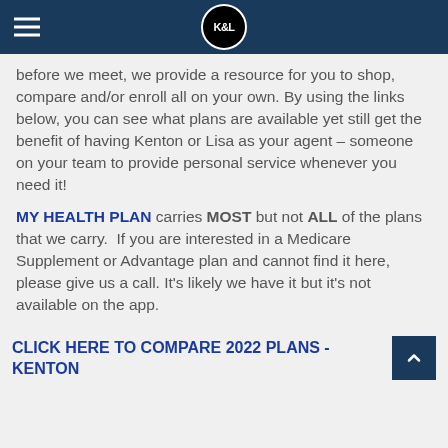K&L [logo]
before we meet, we provide a resource for you to shop, compare and/or enroll all on your own. By using the links below, you can see what plans are available yet still get the benefit of having Kenton or Lisa as your agent – someone on your team to provide personal service whenever you need it!
MY HEALTH PLAN carries MOST but not ALL of the plans that we carry. If you are interested in a Medicare Supplement or Advantage plan and cannot find it here, please give us a call. It's likely we have it but it's not available on the app.
CLICK HERE TO COMPARE 2022 PLANS - KENTON